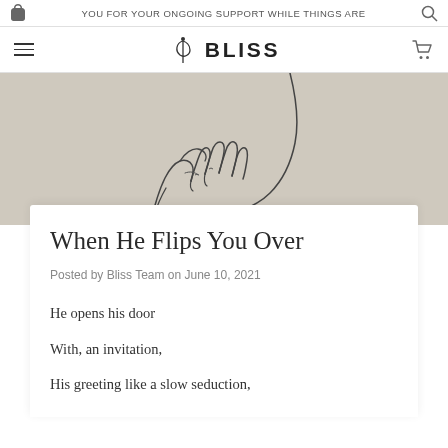YOU FOR YOUR ONGOING SUPPORT WHILE THINGS ARE
[Figure (logo): Bliss brand logo with stylized 'b' icon and BLISS wordmark]
[Figure (illustration): Line drawing illustration of two hands touching/clasping against a neutral beige background]
When He Flips You Over
Posted by Bliss Team on June 10, 2021
He opens his door
With, an invitation,
His greeting like a slow seduction,